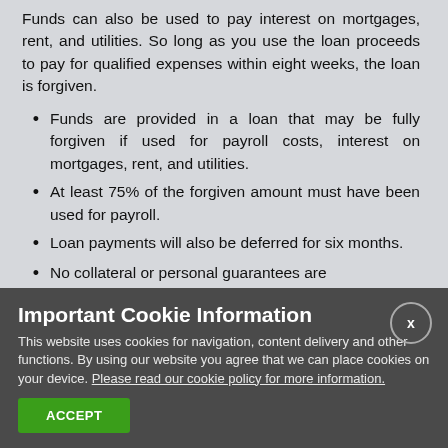Funds can also be used to pay interest on mortgages, rent, and utilities. So long as you use the loan proceeds to pay for qualified expenses within eight weeks, the loan is forgiven.
Funds are provided in a loan that may be fully forgiven if used for payroll costs, interest on mortgages, rent, and utilities.
At least 75% of the forgiven amount must have been used for payroll.
Loan payments will also be deferred for six months.
No collateral or personal guarantees are
Important Cookie Information
This website uses cookies for navigation, content delivery and other functions. By using our website you agree that we can place cookies on your device. Please read our cookie policy for more information.